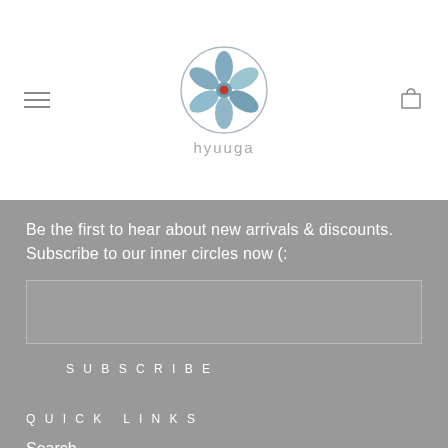[Figure (logo): Hyuuga logo — circular floral emblem with blue/green petals and red center dot, with 'hyuuga' text in light gray below]
Be the first to hear about new arrivals & discounts. Subscribe to our inner circles now (:
SUBSCRIBE
QUICK LINKS
Search
FAQs